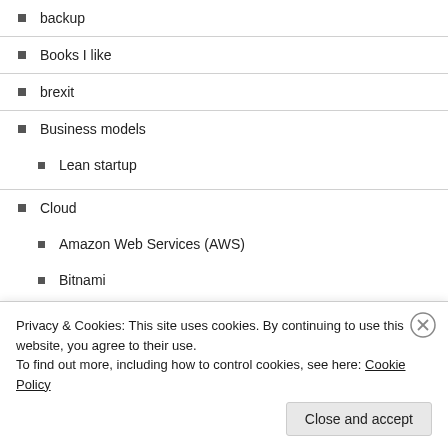backup
Books I like
brexit
Business models
Lean startup
Cloud
Amazon Web Services (AWS)
Bitnami
Crypto-currencies
cryptocurrencies
Cryptostar.money
Privacy & Cookies: This site uses cookies. By continuing to use this website, you agree to their use.
To find out more, including how to control cookies, see here: Cookie Policy
Close and accept